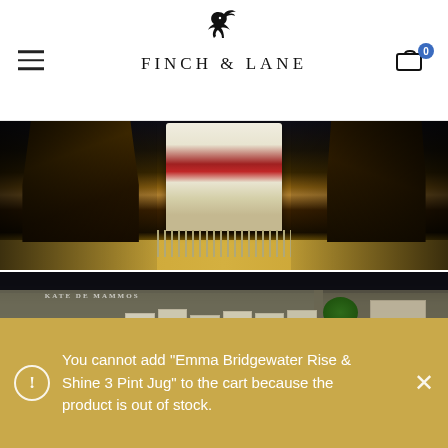Finch & Lane
[Figure (photo): Interior photo showing wooden chairs and a draped scarf/textile with red and cream colors, wooden floor visible]
[Figure (photo): Interior of a gift/stationery shop showing shelves with cards and prints, lavender plants in pots, and colorful products on a table. Kate de Mammos signage visible in background.]
You cannot add "Emma Bridgewater Rise & Shine 3 Pint Jug" to the cart because the product is out of stock.